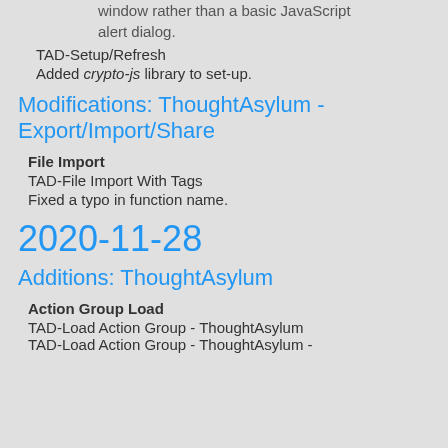window rather than a basic JavaScript alert dialog.
TAD-Setup/Refresh
Added crypto-js library to set-up.
Modifications: ThoughtAsylum - Export/Import/Share
File Import
TAD-File Import With Tags
Fixed a typo in function name.
2020-11-28
Additions: ThoughtAsylum
Action Group Load
TAD-Load Action Group - ThoughtAsylum
TAD-Load Action Group - ThoughtAsylum -